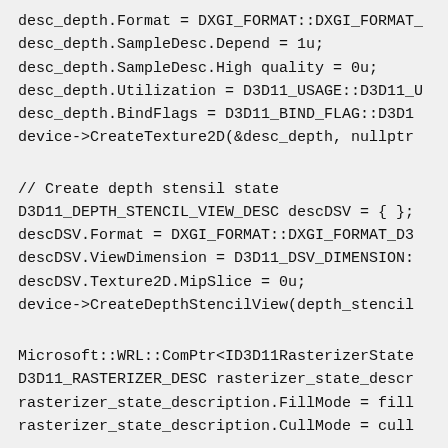desc_depth.Format = DXGI_FORMAT::DXGI_FORMAT_
desc_depth.SampleDesc.Depend = 1u;
desc_depth.SampleDesc.High quality = 0u;
desc_depth.Utilization = D3D11_USAGE::D3D11_U
desc_depth.BindFlags = D3D11_BIND_FLAG::D3D1
device->CreateTexture2D(&desc_depth, nullptr
// Create depth stensil state
D3D11_DEPTH_STENCIL_VIEW_DESC descDSV = { };
descDSV.Format = DXGI_FORMAT::DXGI_FORMAT_D3
descDSV.ViewDimension = D3D11_DSV_DIMENSION:
descDSV.Texture2D.MipSlice = 0u;
device->CreateDepthStencilView(depth_stencil
Microsoft::WRL::ComPtr<ID3D11RasterizerState
D3D11_RASTERIZER_DESC rasterizer_state_descr
rasterizer_state_description.FillMode = fill
rasterizer_state_description.CullMode = cull